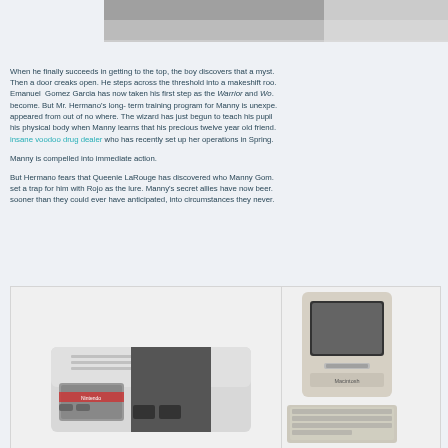[Figure (photo): Partial view of a black and white photograph at the top of the page]
When he finally succeeds in getting to the top, the boy discovers that a myst. Then a door creaks open. He steps across the threshold into a makeshift roo. Emanuel Gomez Garcia has now taken his first step as the Warrior and Wo. become. But Mr. Hermano's long- term training program for Manny is unexpe. appeared from out of no where. The wizard has just begun to teach his pupil his physical body when Manny learns that his precious twelve year old friend. insane voodoo drug dealer who has recently set up her operations in Spring
Manny is compelled into immediate action.
But Hermano fears that Queenie LaRouge has discovered who Manny Gom. set a trap for him with Rojo as the lure. Manny's secret allies have now beer sooner than they could ever have anticipated, into circumstances they never
[Figure (photo): Photo of a Nintendo Entertainment System (NES) console]
[Figure (photo): Photo of an Apple Macintosh personal computer]